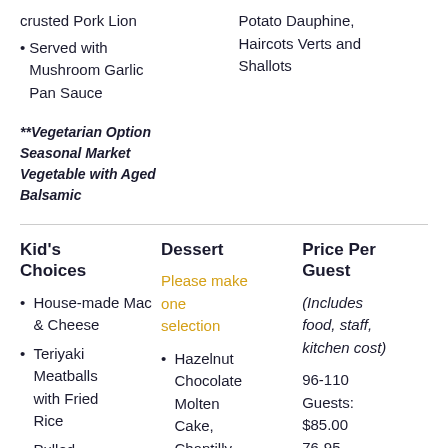crusted Pork Lion
Served with Mushroom Garlic Pan Sauce
Potato Dauphine, Haircots Verts and Shallots
**Vegetarian Option Seasonal Market Vegetable with Aged Balsamic
Kid's Choices
Dessert
Price Per Guest
House-made Mac & Cheese
Teriyaki Meatballs with Fried Rice
Pulled
Please make one selection
Hazelnut Chocolate Molten Cake, Chantilly,
(Includes food, staff, kitchen cost)
96-110 Guests: $85.00
76-95